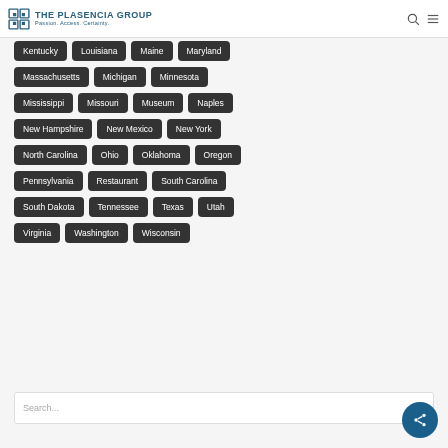The Plasencia Group – Passion. Access. Certainty.
Kentucky
Louisiana
Maine
Maryland
Massachusetts
Michigan
Minnesota
Mississippi
Missouri
Museum
Naples
New Hampshire
New Mexico
New York
North Carolina
Ohio
Oklahoma
Oregon
Pennsylvania
Restaurant
South Carolina
South Dakota
Tennessee
Texas
Utah
Virginia
Washington
Wisconsin
Search...